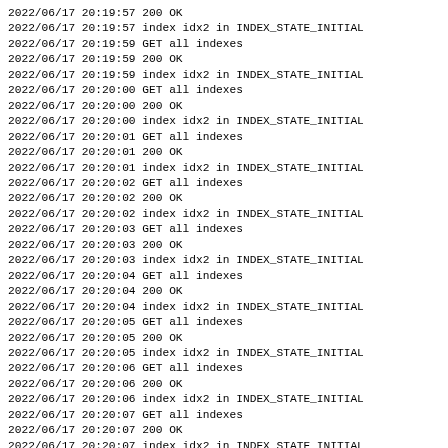2022/06/17 20:19:57 200 OK
2022/06/17 20:19:57 index idx2 in INDEX_STATE_INITIAL
2022/06/17 20:19:59 GET all indexes
2022/06/17 20:19:59 200 OK
2022/06/17 20:19:59 index idx2 in INDEX_STATE_INITIAL
2022/06/17 20:20:00 GET all indexes
2022/06/17 20:20:00 200 OK
2022/06/17 20:20:00 index idx2 in INDEX_STATE_INITIAL
2022/06/17 20:20:01 GET all indexes
2022/06/17 20:20:01 200 OK
2022/06/17 20:20:01 index idx2 in INDEX_STATE_INITIAL
2022/06/17 20:20:02 GET all indexes
2022/06/17 20:20:02 200 OK
2022/06/17 20:20:02 index idx2 in INDEX_STATE_INITIAL
2022/06/17 20:20:03 GET all indexes
2022/06/17 20:20:03 200 OK
2022/06/17 20:20:03 index idx2 in INDEX_STATE_INITIAL
2022/06/17 20:20:04 GET all indexes
2022/06/17 20:20:04 200 OK
2022/06/17 20:20:04 index idx2 in INDEX_STATE_INITIAL
2022/06/17 20:20:05 GET all indexes
2022/06/17 20:20:05 200 OK
2022/06/17 20:20:05 index idx2 in INDEX_STATE_INITIAL
2022/06/17 20:20:06 GET all indexes
2022/06/17 20:20:06 200 OK
2022/06/17 20:20:06 index idx2 in INDEX_STATE_INITIAL
2022/06/17 20:20:07 GET all indexes
2022/06/17 20:20:07 200 OK
2022/06/17 20:20:07 index idx2 in INDEX_STATE_INITIAL
2022/06/17 20:20:08 GET all indexes